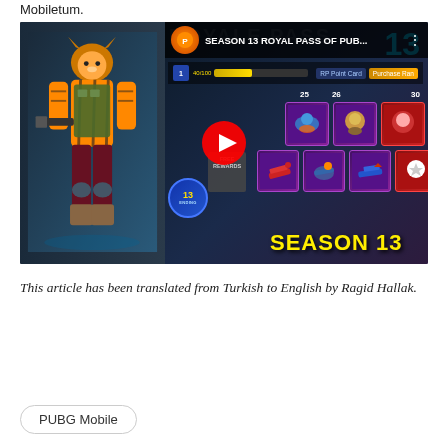Mobiletum.
[Figure (screenshot): YouTube video thumbnail showing PUBG Mobile Season 13 Royal Pass with a character in orange tiger costume, game UI with item grid, and YouTube play button overlay. Title reads 'SEASON 13 ROYAL PASS OF PUB...']
This article has been translated from Turkish to English by Ragid Hallak.
PUBG Mobile